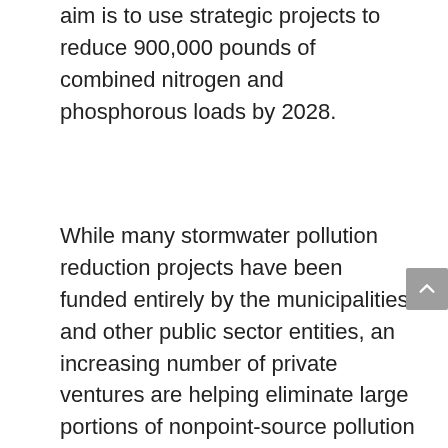aim is to use strategic projects to reduce 900,000 pounds of combined nitrogen and phosphorous loads by 2028.
While many stormwater pollution reduction projects have been funded entirely by the municipalities and other public sector entities, an increasing number of private ventures are helping eliminate large portions of nonpoint-source pollution entering the lagoon.